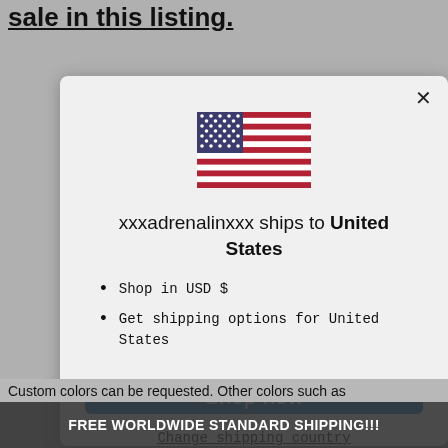sale in this listing.
[Figure (screenshot): Modal dialog showing US flag, shipping destination message, bullet points, and a blue Shop now button]
xxxadrenalinxxx ships to United States
Shop in USD $
Get shipping options for United States
Shop now
Change shipping country
FREE WORLDWIDE STANDARD SHIPPING!!!
Custom colors can be requested. Other colors such as